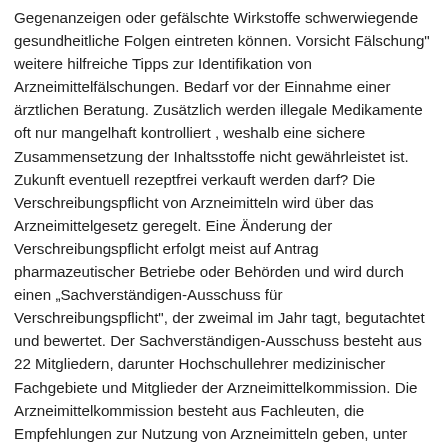Gegenanzeigen oder gefälschte Wirkstoffe schwerwiegende gesundheitliche Folgen eintreten können. Vorsicht Fälschung" weitere hilfreiche Tipps zur Identifikation von Arzneimittelfälschungen. Bedarf vor der Einnahme einer ärztlichen Beratung. Zusätzlich werden illegale Medikamente oft nur mangelhaft kontrolliert , weshalb eine sichere Zusammensetzung der Inhaltsstoffe nicht gewährleistet ist. Zukunft eventuell rezeptfrei verkauft werden darf? Die Verschreibungspflicht von Arzneimitteln wird über das Arzneimittelgesetz geregelt. Eine Änderung der Verschreibungspflicht erfolgt meist auf Antrag pharmazeutischer Betriebe oder Behörden und wird durch einen „Sachverständigen-Ausschuss für Verschreibungspflicht", der zweimal im Jahr tagt, begutachtet und bewertet. Der Sachverständigen-Ausschuss besteht aus 22 Mitgliedern, darunter Hochschullehrer medizinischer Fachgebiete und Mitglieder der Arzneimittelkommission. Die Arzneimittelkommission besteht aus Fachleuten, die Empfehlungen zur Nutzung von Arzneimitteln geben, unter anderem die Arzneimittelkommission der deutschen Ärzteschaft und die Arzneimittelkommission der Deutschen Apotheker. Der Gesetzgeber folgt meist dem vorgelegten Gutachten und den Empfehlungen der Sachverständigen. Bei einer niedergelassenen Apotheke ist der Erwerb also nur mit einem